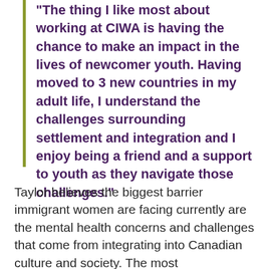"The thing I like most about working at CIWA is having the chance to make an impact in the lives of newcomer youth. Having moved to 3 new countries in my adult life, I understand the challenges surrounding settlement and integration and I enjoy being a friend and a support to youth as they navigate those challenges."
Taylor believes the biggest barrier immigrant women are facing currently are the mental health concerns and challenges that come from integrating into Canadian culture and society. The most...